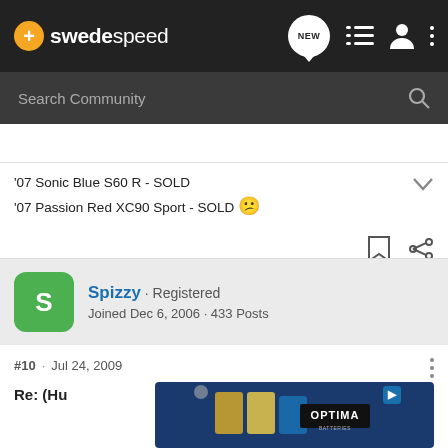swedespeed
Search Community
'07 Sonic Blue S60 R - SOLD
'07 Passion Red XC90 Sport - SOLD
Spizzy · Registered
Joined Dec 6, 2006 · 433 Posts
#10 · Jul 24, 2009
Re: (Hu
[Figure (screenshot): Optima Batteries advertisement banner with blue background]